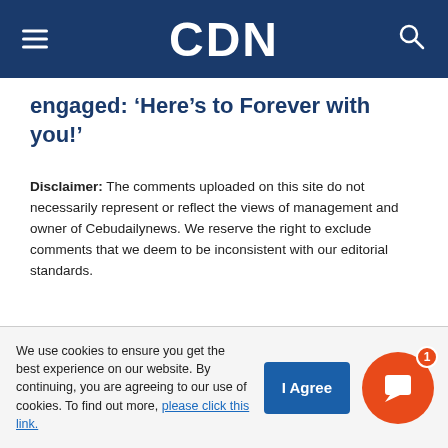CDN
engaged: ‘Here’s to Forever with you!’
Disclaimer: The comments uploaded on this site do not necessarily represent or reflect the views of management and owner of Cebudailynews. We reserve the right to exclude comments that we deem to be inconsistent with our editorial standards.
We use cookies to ensure you get the best experience on our website. By continuing, you are agreeing to our use of cookies. To find out more, please click this link.